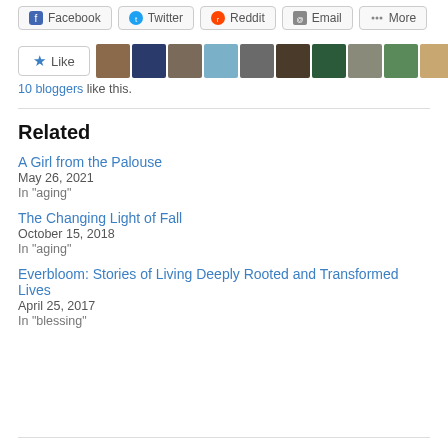[Figure (other): Social share buttons: Facebook, Twitter, Reddit, Email, More]
[Figure (other): Like button with star icon and 10 avatar thumbnails of bloggers]
10 bloggers like this.
Related
A Girl from the Palouse
May 26, 2021
In "aging"
The Changing Light of Fall
October 15, 2018
In "aging"
Everbloom: Stories of Living Deeply Rooted and Transformed Lives
April 25, 2017
In "blessing"